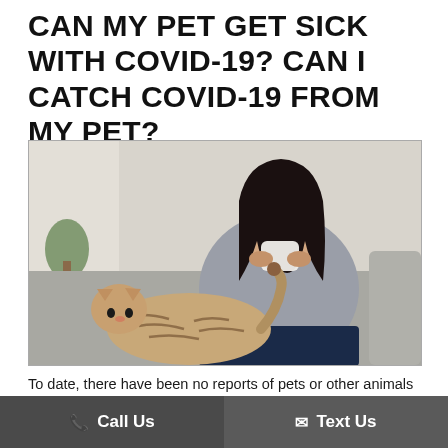CAN MY PET GET SICK WITH COVID-19? CAN I CATCH COVID-19 FROM MY PET?
[Figure (photo): Asian woman sitting on a sofa blowing her nose with a tissue, with a tabby cat in the foreground on the sofa cushion]
To date, there have been no reports of pets or other animals becoming sick with COVID-19. At this time, th... [ce t...] imals [partially obscured by Call Us / Text Us buttons]